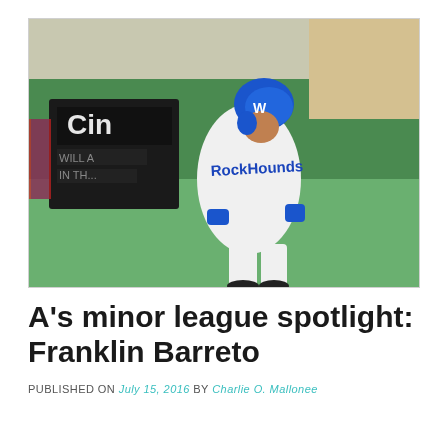[Figure (photo): A baseball player wearing a white RockHounds jersey and blue batting helmet running on a baseball field. He wears blue wristbands. Green wall and advertising signage visible in the background.]
A's minor league spotlight: Franklin Barreto
PUBLISHED ON July 15, 2016 by Charlie O. Mallonee